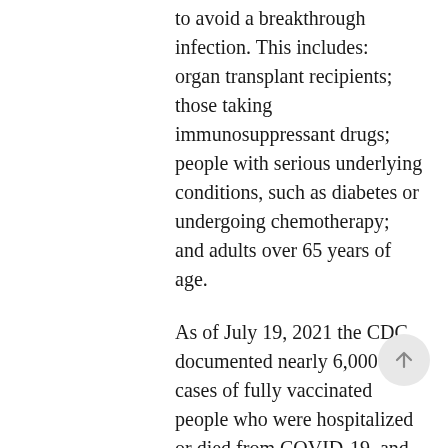to avoid a breakthrough infection. This includes: organ transplant recipients; those taking immunosuppressant drugs; people with serious underlying conditions, such as diabetes or undergoing chemotherapy; and adults over 65 years of age.

As of July 19, 2021 the CDC documented nearly 6,000 cases of fully vaccinated people who were hospitalized or died from COVID-19, and 74% of them were 65 or older. Here are some steps you can take to protect yourself from the Delta variant: